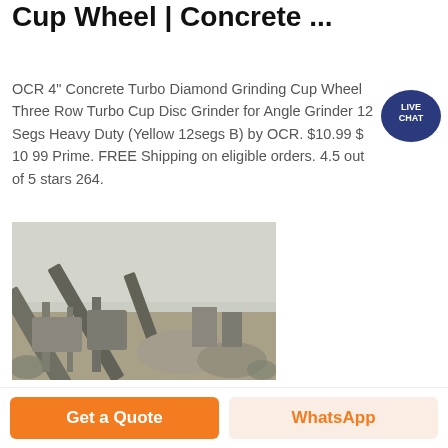Concrete Grinding Tools | Diamond Cup Wheel | Concrete ...
OCR 4" Concrete Turbo Diamond Grinding Cup Wheel Three Row Turbo Cup Disc Grinder for Angle Grinder 12 Segs Heavy Duty (Yellow 12segs B) by OCR. $10.99 $ 10 99 Prime. FREE Shipping on eligible orders. 4.5 out of 5 stars 264.
[Figure (photo): Industrial quarrying or mining site with heavy machinery, conveyor belts, and stone crushing equipment. Black and white or faded photograph.]
Get a Quote
WhatsApp